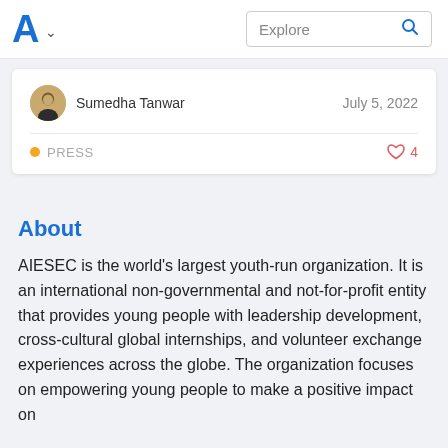A  Explore
Sumedha Tanwar   July 5, 2022
PRESS   ♡ 4
About
AIESEC is the world's largest youth-run organization. It is an international non-governmental and not-for-profit entity that provides young people with leadership development, cross-cultural global internships, and volunteer exchange experiences across the globe. The organization focuses on empowering young people to make a positive impact on